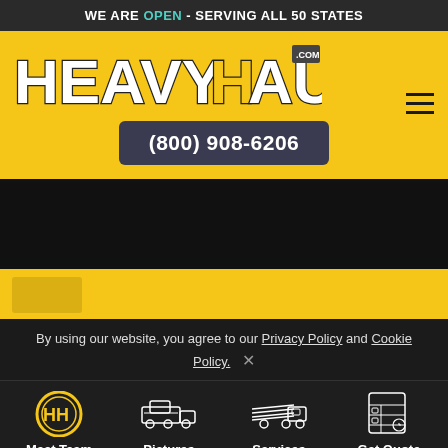WE ARE OPEN - SERVING ALL 50 STATES
[Figure (logo): HeavyHaulers.com logo in bold distressed font on yellow background]
(800) 908-6206
[Figure (illustration): Dark section with truck imagery]
By using our website, you agree to our Privacy Policy and Cookie Policy.
Meet Team
Pictures
Services
Get Quote